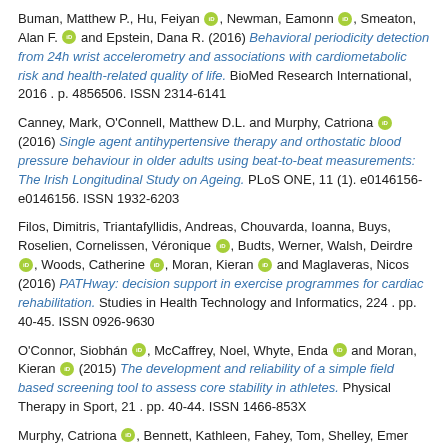Buman, Matthew P., Hu, Feiyan [orcid], Newman, Eamonn [orcid], Smeaton, Alan F. [orcid] and Epstein, Dana R. (2016) Behavioral periodicity detection from 24h wrist accelerometry and associations with cardiometabolic risk and health-related quality of life. BioMed Research International, 2016 . p. 4856506. ISSN 2314-6141
Canney, Mark, O'Connell, Matthew D.L. and Murphy, Catriona [orcid] (2016) Single agent antihypertensive therapy and orthostatic blood pressure behaviour in older adults using beat-to-beat measurements: The Irish Longitudinal Study on Ageing. PLoS ONE, 11 (1). e0146156-e0146156. ISSN 1932-6203
Filos, Dimitris, Triantafyllidis, Andreas, Chouvarda, Ioanna, Buys, Roselien, Cornelissen, Véronique [orcid], Budts, Werner, Walsh, Deirdre [orcid], Woods, Catherine [orcid], Moran, Kieran [orcid] and Maglaveras, Nicos (2016) PATHway: decision support in exercise programmes for cardiac rehabilitation. Studies in Health Technology and Informatics, 224 . pp. 40-45. ISSN 0926-9630
O'Connor, Siobhán [orcid], McCaffrey, Noel, Whyte, Enda [orcid] and Moran, Kieran [orcid] (2015) The development and reliability of a simple field based screening tool to assess core stability in athletes. Physical Therapy in Sport, 21 . pp. 40-44. ISSN 1466-853X
Murphy, Catriona [orcid], Bennett, Kathleen, Fahey, Tom, Shelley, Emer...